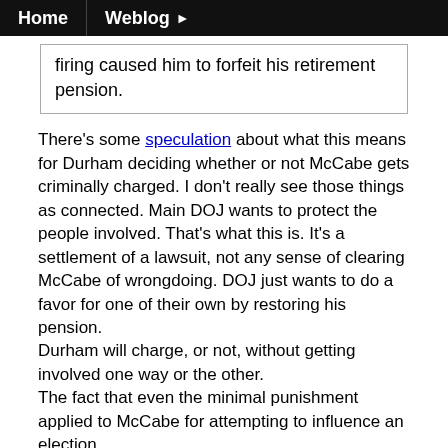Home | Weblog ▶
firing caused him to forfeit his retirement pension.
There's some speculation about what this means for Durham deciding whether or not McCabe gets criminally charged. I don't really see those things as connected. Main DOJ wants to protect the people involved. That's what this is. It's a settlement of a lawsuit, not any sense of clearing McCabe of wrongdoing. DOJ just wants to do a favor for one of their own by restoring his pension.
Durham will charge, or not, without getting involved one way or the other.
The fact that even the minimal punishment applied to McCabe for attempting to influence an election